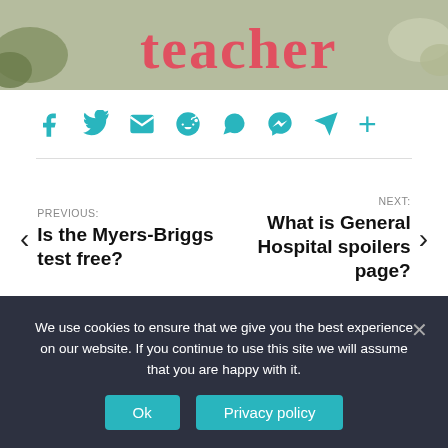[Figure (illustration): Cartoon illustration showing the word 'teacher' in red/coral styled font on a light background with illustrated cartoon characters/hands visible on sides]
[Figure (infographic): Social share icons row: Facebook, Twitter, Email, Reddit, WhatsApp, Messenger, Telegram, Plus/More]
PREVIOUS: Is the Myers-Briggs test free?
NEXT: What is General Hospital spoilers page?
We use cookies to ensure that we give you the best experience on our website. If you continue to use this site we will assume that you are happy with it.